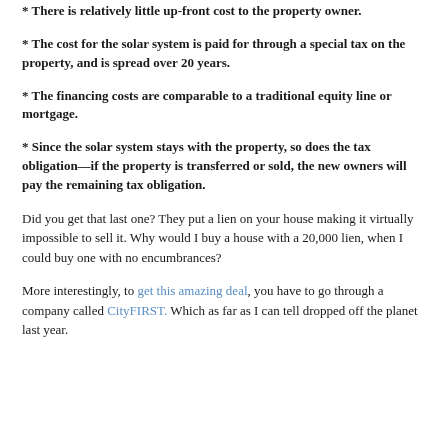* There is relatively little up-front cost to the property owner.
* The cost for the solar system is paid for through a special tax on the property, and is spread over 20 years.
* The financing costs are comparable to a traditional equity line or mortgage.
* Since the solar system stays with the property, so does the tax obligation—if the property is transferred or sold, the new owners will pay the remaining tax obligation.
Did you get that last one? They put a lien on your house making it virtually impossible to sell it. Why would I buy a house with a 20,000 lien, when I could buy one with no encumbrances?
More interestingly, to get this amazing deal, you have to go through a company called CityFIRST. Which as far as I can tell dropped off the planet last year.